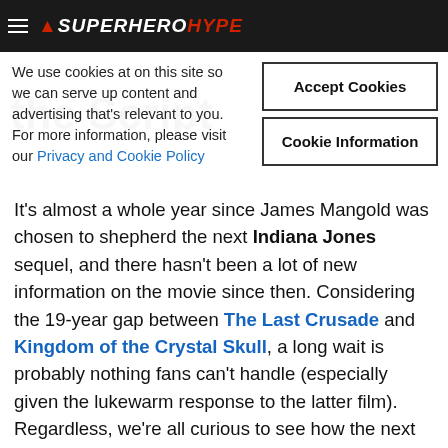SuperHeroHype
We use cookies at on this site so we can serve up content and advertising that's relevant to you. For more information, please visit our Privacy and Cookie Policy
It's almost a whole year since James Mangold was chosen to shepherd the next Indiana Jones sequel, and there hasn't been a lot of new information on the movie since then. Considering the 19-year gap between The Last Crusade and Kingdom of the Crystal Skull, a long wait is probably nothing fans can't handle (especially given the lukewarm response to the latter film). Regardless, we're all curious to see how the next entry will turn out under Disney's leadership. Now, producer Frank Marshall, who's been with the franchise since the beginning, has offered an update on Indy's new adventure.
Marshall recently discussed the status of Indiana Jones 5 with Den of Geek. Apparently, Mangold is currently toiling away on a new draft of the script, and Marshall sounds